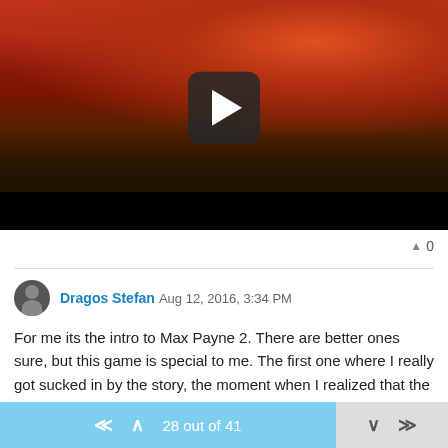[Figure (screenshot): Video thumbnail with play button overlay showing a dark fantasy/action game scene with red sky, wooden structures, and figures. Black video control bar at bottom.]
▲ 0
Dragos Stefan Aug 12, 2016, 3:34 PM
For me its the intro to Max Payne 2. There are better ones sure, but this game is special to me. The first one where I really got sucked in by the story, the moment when I realized that the story is the thing that I am most interested in.
28 out of 41